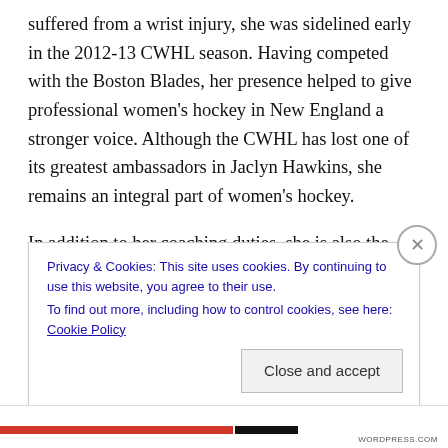suffered from a wrist injury, she was sidelined early in the 2012-13 CWHL season. Having competed with the Boston Blades, her presence helped to give professional women's hockey in New England a stronger voice. Although the CWHL has lost one of its greatest ambassadors in Jaclyn Hawkins, she remains an integral part of women's hockey.
In addition to her coaching duties, she is also the founder and president of the website Women's Hockey Life. A forum for fans, players, coaches and administrators to share their views on the game, while other sections are
Privacy & Cookies: This site uses cookies. By continuing to use this website, you agree to their use.
To find out more, including how to control cookies, see here: Cookie Policy
Close and accept